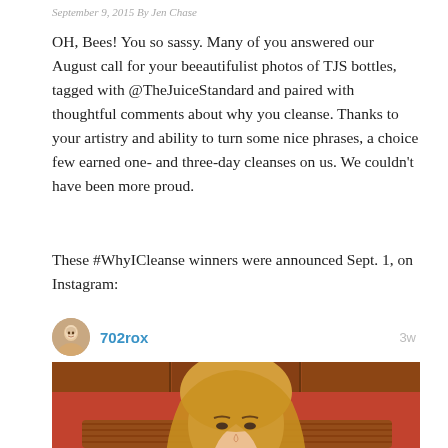September 9, 2015 By Jen Chase
OH, Bees! You so sassy. Many of you answered our August call for your beeautifulist photos of TJS bottles, tagged with @TheJuiceStandard and paired with thoughtful comments about why you cleanse. Thanks to your artistry and ability to turn some nice phrases, a choice few earned one- and three-day cleanses on us. We couldn't have been more proud.
These #WhyICleanse winners were announced Sept. 1, on Instagram:
[Figure (screenshot): Instagram post by user 702rox showing a selfie of a blonde woman in a restaurant. Posted 3 weeks ago.]